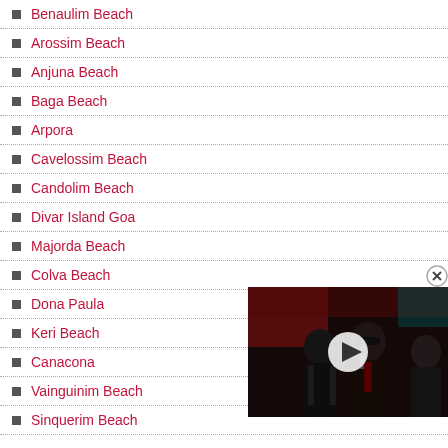Benaulim Beach
Arossim Beach
Anjuna Beach
Baga Beach
Arpora
Cavelossim Beach
Candolim Beach
Divar Island Goa
Majorda Beach
Colva Beach
Dona Paula
Keri Beach
Canacona
Vainguinim Beach
Sinquerim Beach
[Figure (screenshot): Embedded video thumbnail showing two men in suits with a play button overlay and a close (X) button]